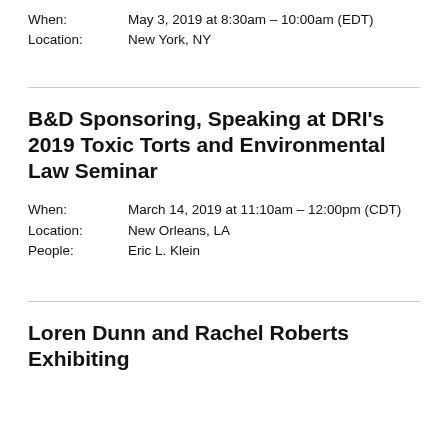When: May 3, 2019 at 8:30am – 10:00am (EDT)
Location: New York, NY
B&D Sponsoring, Speaking at DRI's 2019 Toxic Torts and Environmental Law Seminar
When: March 14, 2019 at 11:10am – 12:00pm (CDT)
Location: New Orleans, LA
People: Eric L. Klein
Loren Dunn and Rachel Roberts Exhibiting